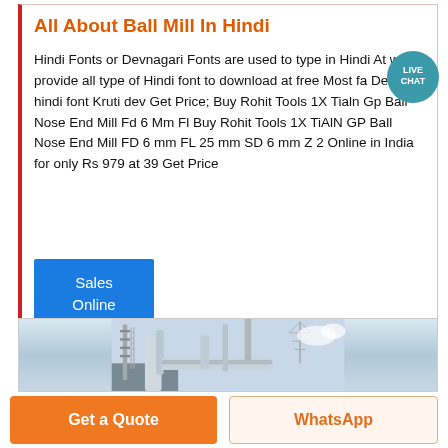All About Ball Mill In Hindi
Hindi Fonts or Devnagari Fonts are used to type in Hindi At we provide all type of Hindi font to download at free Most fa... Devlys hindi font Kruti dev Get Price; Buy Rohit Tools 1X Tialn Gp Ball Nose End Mill Fd 6 Mm Fl Buy Rohit Tools 1X TiAlN GP Ball Nose End Mill FD 6 mm FL 25 mm SD 6 mm Z 2 Online in India for only Rs 979 at 39 Get Price
[Figure (other): Live chat speech bubble icon with LIVE CHAT text]
[Figure (other): Sales Online blue button]
[Figure (photo): Industrial facility photo showing pipes, towers and equipment against a light sky]
Get a Quote
WhatsApp